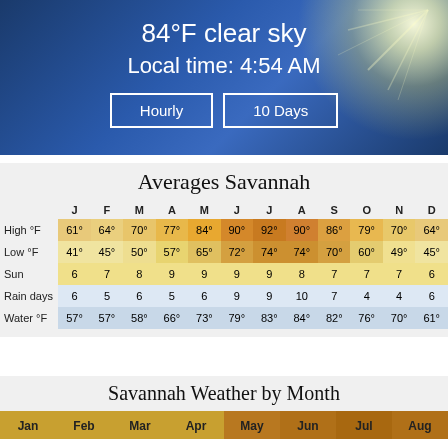84°F clear sky
Local time: 4:54 AM
Hourly | 10 Days
Averages Savannah
|  | J | F | M | A | M | J | J | A | S | O | N | D |
| --- | --- | --- | --- | --- | --- | --- | --- | --- | --- | --- | --- | --- |
| High °F | 61° | 64° | 70° | 77° | 84° | 90° | 92° | 90° | 86° | 79° | 70° | 64° |
| Low °F | 41° | 45° | 50° | 57° | 65° | 72° | 74° | 74° | 70° | 60° | 49° | 45° |
| Sun | 6 | 7 | 8 | 9 | 9 | 9 | 9 | 8 | 7 | 7 | 7 | 6 |
| Rain days | 6 | 5 | 6 | 5 | 6 | 9 | 9 | 10 | 7 | 4 | 4 | 6 |
| Water °F | 57° | 57° | 58° | 66° | 73° | 79° | 83° | 84° | 82° | 76° | 70° | 61° |
Savannah Weather by Month
Jan Feb Mar Apr May Jun Jul Aug